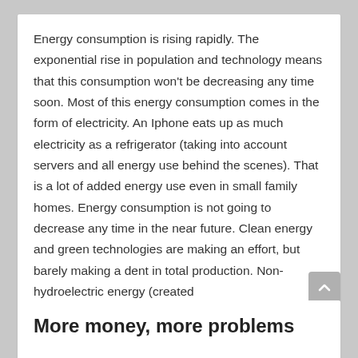Energy consumption is rising rapidly. The exponential rise in population and technology means that this consumption won't be decreasing any time soon. Most of this energy consumption comes in the form of electricity. An Iphone eats up as much electricity as a refrigerator (taking into account servers and all energy use behind the scenes). That is a lot of added energy use even in small family homes. Energy consumption is not going to decrease any time in the near future. Clean energy and green technologies are making an effort, but barely making a dent in total production. Non-hydroelectric energy (created
Continue reading →
Posted in Economics | Tagged Energy | 1 Reply
More money, more problems